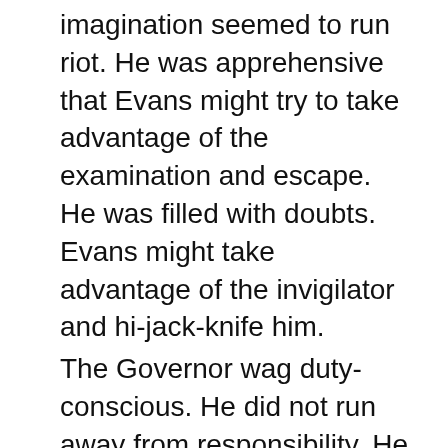imagination seemed to run riot. He was apprehensive that Evans might try to take advantage of the examination and escape. He was filled with doubts. Evans might take advantage of the invigilator and hi-jack-knife him.
The Governor wag duty-conscious. He did not run away from responsibility. He listened-in to the conversation in the cell himself. In spite of all his virtues, the Governor had a serious flaw. He was too credulous. He had full faith in his officers and the law-enforcing machinery. He believed the injured “McLeery” and let him accompany Superintendent Carter to help him trace Evans. Actually, he let Evans leave the prison.
The final act of foolishness was when he let